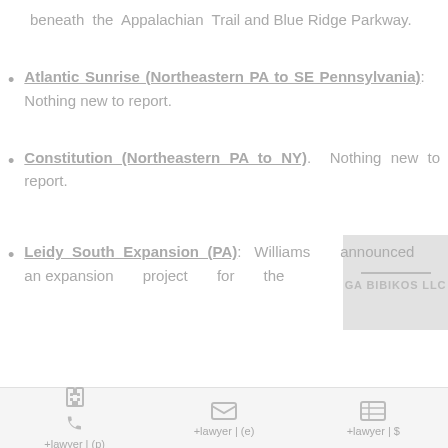beneath the Appalachian Trail and Blue Ridge Parkway.
Atlantic Sunrise (Northeastern PA to SE Pennsylvania): Nothing new to report.
Constitution (Northeastern PA to NY). Nothing new to report.
Leidy South Expansion (PA): Williams announced an expansion project for the
+lawyer | (p)   +lawyer | (e)   +lawyer | $